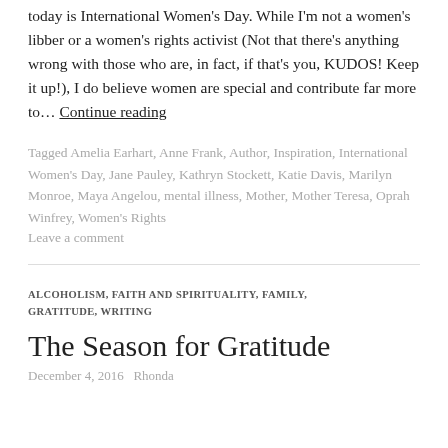today is International Women's Day. While I'm not a women's libber or a women's rights activist (Not that there's anything wrong with those who are, in fact, if that's you, KUDOS! Keep it up!), I do believe women are special and contribute far more to… Continue reading
Tagged Amelia Earhart, Anne Frank, Author, Inspiration, International Women's Day, Jane Pauley, Kathryn Stockett, Katie Davis, Marilyn Monroe, Maya Angelou, mental illness, Mother, Mother Teresa, Oprah Winfrey, Women's Rights
Leave a comment
ALCOHOLISM, FAITH AND SPIRITUALITY, FAMILY, GRATITUDE, WRITING
The Season for Gratitude
December 4, 2016   Rhonda